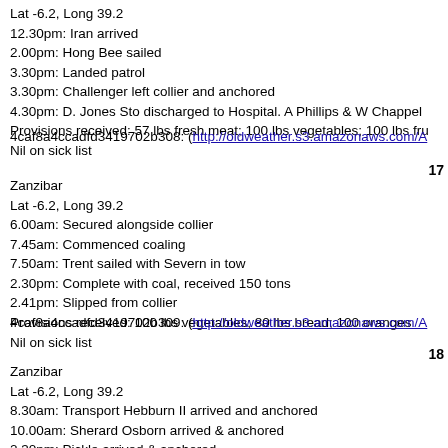Lat -6.2, Long 39.2
12.30pm: Iran arrived
2.00pm: Hong Bee sailed
3.30pm: Landed patrol
3.30pm: Challenger left collier and anchored
4.30pm: D. Jones Sto discharged to Hospital. A Phillips & W Chappel
Provisions received: 57 lbs fresh meat; 100 lbs vegetables; 100 lbs fru
Nil on sick list
4caf8a4ccadfd3419702b308: (http://oldweather.s3.amazonaws.com/A
17
Zanzibar
Lat -6.2, Long 39.2
6.00am: Secured alongside collier
7.45am: Commenced coaling
7.50am: Trent sailed with Severn in tow
2.30pm: Complete with coal, received 150 tons
2.41pm: Slipped from collier
Provisions received: 100 lbs vegetables; 80 lbs bread; 100 oranges
Nil on sick list
4caf8a4ccadfd3419702b309: (http://oldweather.s3.amazonaws.com/A
18
Zanzibar
Lat -6.2, Long 39.2
8.30am: Transport Hebburn II arrived and anchored
10.00am: Sherard Osborn arrived & anchored
2.30pm: Pickle arrived & anchored